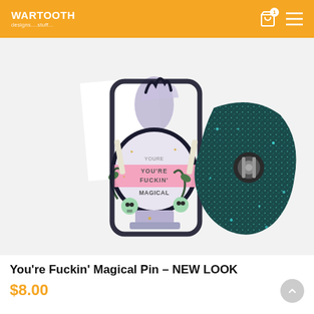WARTOOTH DESIGNS....stuff... [cart icon with badge: 1] [menu icon]
[Figure (photo): Product photo showing two enamel pins against a white background. The front pin depicts a crystal ball with a pink banner reading 'YOU'RE FUCKIN' MAGICAL', surrounded by floral and skull motifs, dark background. The back of the pin is shown to the right — a teal/dark glittery blob-shaped back with a metal butterfly clutch.]
You're Fuckin' Magical Pin – NEW LOOK
$8.00